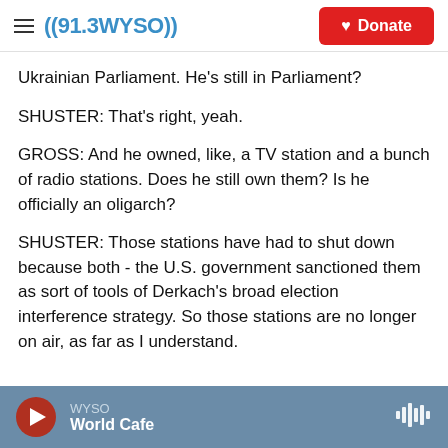((91.3WYSO)) | Donate
Ukrainian Parliament. He's still in Parliament?
SHUSTER: That's right, yeah.
GROSS: And he owned, like, a TV station and a bunch of radio stations. Does he still own them? Is he officially an oligarch?
SHUSTER: Those stations have had to shut down because both - the U.S. government sanctioned them as sort of tools of Derkach's broad election interference strategy. So those stations are no longer on air, as far as I understand.
WYSO | World Cafe